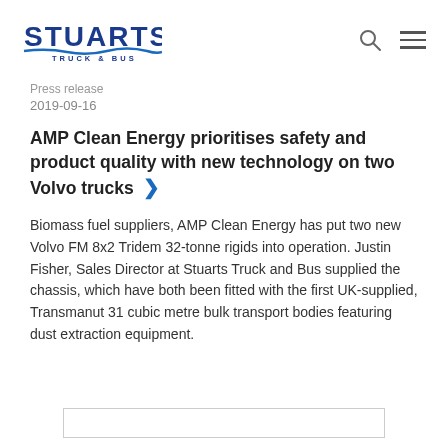STUARTS TRUCK & BUS
Press release
2019-09-16
AMP Clean Energy prioritises safety and product quality with new technology on two Volvo trucks
Biomass fuel suppliers, AMP Clean Energy has put two new Volvo FM 8x2 Tridem 32-tonne rigids into operation. Justin Fisher, Sales Director at Stuarts Truck and Bus supplied the chassis, which have both been fitted with the first UK-supplied, Transmanut 31 cubic metre bulk transport bodies featuring dust extraction equipment.